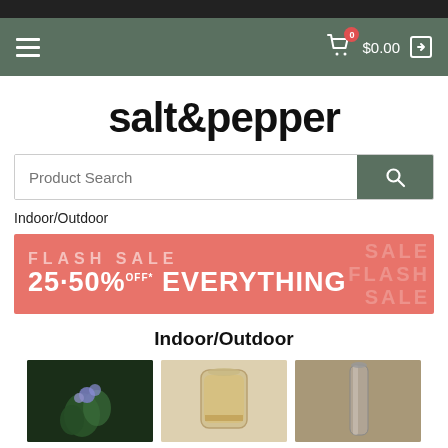Navigation bar with hamburger menu, cart ($0.00, 0 items), and login icon
salt&pepper
Product Search
Indoor/Outdoor
[Figure (infographic): Flash Sale banner: FLASH SALE 25-50% OFF EVERYTHING on coral/salmon background with watermark text]
Indoor/Outdoor
[Figure (photo): Three product thumbnail photos side by side]